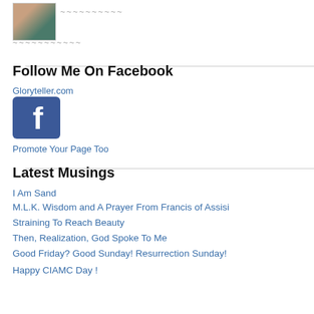[Figure (photo): Profile photo of a person in teal/turquoise top outdoors]
~~~~~~~~~~~ ~~~~~~~~~~~
Follow Me On Facebook
Gloryteller.com
[Figure (logo): Facebook logo square icon, blue background with white f]
Promote Your Page Too
Latest Musings
I Am Sand
M.L.K. Wisdom and A Prayer From Francis of Assisi
Straining To Reach Beauty
Then, Realization, God Spoke To Me
Good Friday? Good Sunday! Resurrection Sunday!
Happy CIAMC Day !